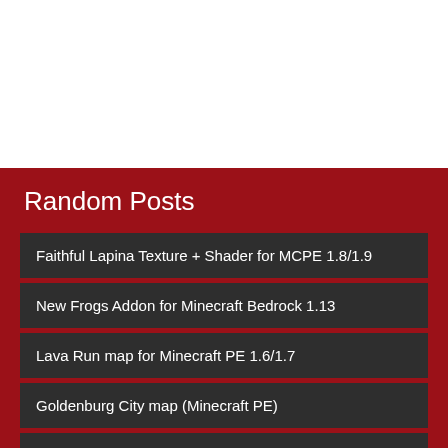[Figure (other): White space at top of page, likely image area]
Random Posts
Faithful Lapina Texture + Shader for MCPE 1.8/1.9
New Frogs Addon for Minecraft Bedrock 1.13
Lava Run map for Minecraft PE 1.6/1.7
Goldenburg City map (Minecraft PE)
Red land seed for Minecraft PE
Explosive Sheep mod for MCPE 0.10.5
Rainbow Parkour Map for Minecraft PE 1.17+